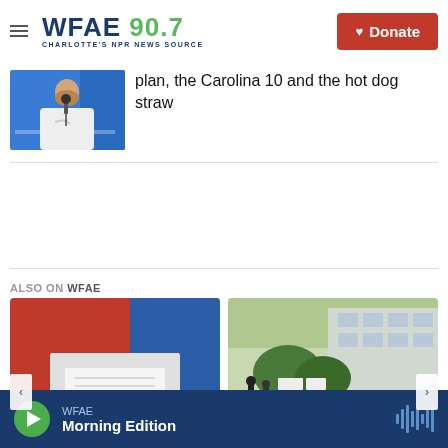WFAE 90.7 CHARLOTTE'S NPR NEWS SOURCE
plan, the Carolina 10 and the hot dog straw
[Figure (photo): Man in white long-sleeve Nike shirt at a press conference microphone, blue background with Bank of America logo]
ALSO ON WFAE
[Figure (photo): Red and blue graphic with papers, election-themed visual]
[Figure (photo): Protesters outside a building holding signs]
WFAE Morning Edition